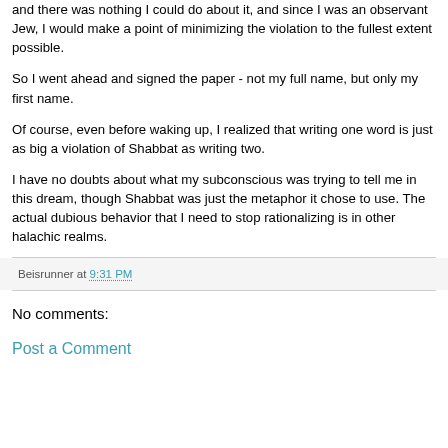and there was nothing I could do about it, and since I was an observant Jew, I would make a point of minimizing the violation to the fullest extent possible.
So I went ahead and signed the paper - not my full name, but only my first name.
Of course, even before waking up, I realized that writing one word is just as big a violation of Shabbat as writing two.
I have no doubts about what my subconscious was trying to tell me in this dream, though Shabbat was just the metaphor it chose to use. The actual dubious behavior that I need to stop rationalizing is in other halachic realms.
Beisrunner at 9:31 PM
No comments:
Post a Comment